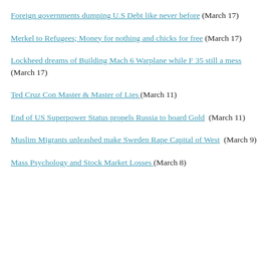Foreign governments dumping U.S Debt like never before (March 17)
Merkel to Refugees; Money for nothing and chicks for free (March 17)
Lockheed dreams of Building Mach 6 Warplane while F 35 still a mess (March 17)
Ted Cruz Con Master & Master of Lies  (March 11)
End of US Superpower Status propels Russia to hoard Gold  (March 11)
Muslim Migrants unleashed make Sweden Rape Capital of West  (March 9)
Mass Psychology and Stock Market Losses  (March 8)